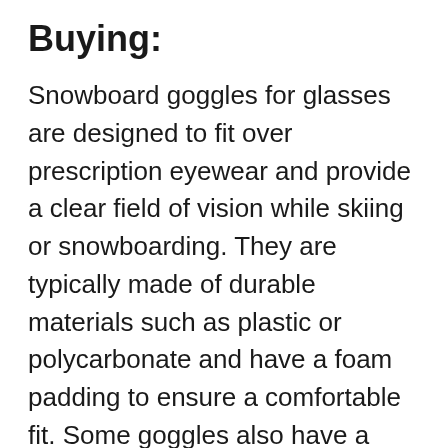Buying:
Snowboard goggles for glasses are designed to fit over prescription eyewear and provide a clear field of vision while skiing or snowboarding. They are typically made of durable materials such as plastic or polycarbonate and have a foam padding to ensure a comfortable fit. Some goggles also have a built-in ventilation system to reduce fogging.
Performance:
First, the goggles should have a good fit and not be too tight or too loose. Second, the goggles should have a good seal to keep the snow and wind out. Third, the goggles should